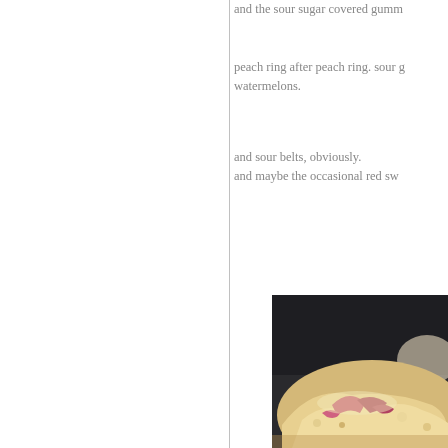and the sour sugar covered gumm
peach ring after peach ring. sour g watermelons.
and sour belts, obviously.
and maybe the occasional red sw
[Figure (photo): Close-up photograph of a baked good or pastry with pink/red fruit filling (possibly raspberry or strawberry), showing a crumbly, golden-colored texture against a dark background.]